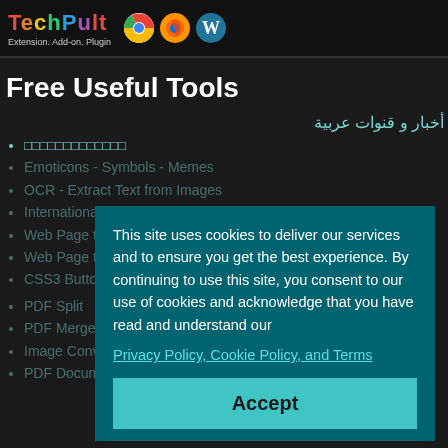[Figure (screenshot): Website banner with colorful 'TechPult' logo text, tagline 'Extension. Add-on. Plugin', and browser/CMS icons (Chrome, Firefox, WordPress)]
Free Useful Tools
أخبار و قنوات عربية
□□□□□□□□□□□□□
Emoticons - Symbols - Memes
OCR - Extract Text from Images
International Onscreen Keyboard
Web Page to PDF
Web Page to Image
CSS3 Button Generator
This site uses cookies to deliver our services and to ensure you get the best experience. By continuing to use this site, you consent to our use of cookies and acknowledge that you have read and understand our Privacy Policy, Cookie Policy, and Terms
PDF Split
PDF Merge
Image Converter
PDF Document Converter